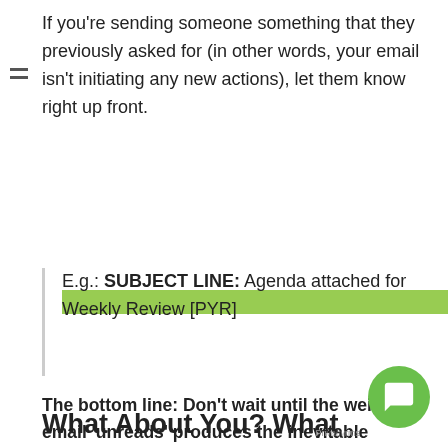If you're sending someone something that they previously asked for (in other words, your email isn't initiating any new actions), let them know right up front.
E.g.: SUBJECT LINE: Agenda attached for Weekly Review [PYR]
The bottom line: Don't wait until the weight of email 'unreads' produces the inevitable dropped ball or missed deadline – or worse, the need for total email 'amnesty' – establish and implement your own set of email subject line protocols to
What About You? What Steps Do You